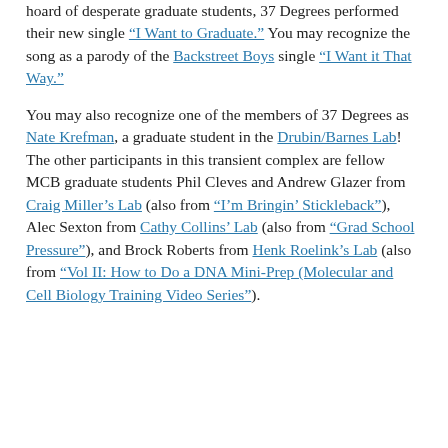hoard of desperate graduate students, 37 Degrees performed their new single “I Want to Graduate.”  You may recognize the song as a parody of the Backstreet Boys single “I Want it That Way.”
You may also recognize one of the members of 37 Degrees as Nate Krefman, a graduate student in the Drubin/Barnes Lab!  The other participants in this transient complex are fellow MCB graduate students Phil Cleves and Andrew Glazer from Craig Miller’s Lab (also from “I’m Bringin’ Stickleback”), Alec Sexton from Cathy Collins’ Lab (also from “Grad School Pressure”), and Brock Roberts from Henk Roelink’s Lab (also from “Vol II: How to Do a DNA Mini-Prep (Molecular and Cell Biology Training Video Series”).